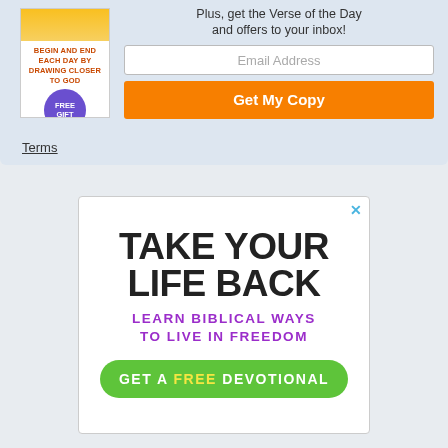[Figure (illustration): Book cover with orange gradient top and text: BEGIN AND END EACH DAY BY DRAWING CLOSER TO GOD, with a purple FREE GIFT badge]
Plus, get the Verse of the Day and offers to your inbox!
Email Address
Get My Copy
Terms
[Figure (infographic): Advertisement with large bold text TAKE YOUR LIFE BACK, purple subtitle LEARN BIBLICAL WAYS TO LIVE IN FREEDOM, and green button GET A FREE DEVOTIONAL]